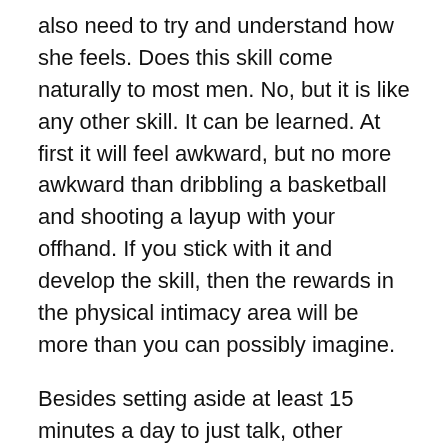also need to try and understand how she feels. Does this skill come naturally to most men. No, but it is like any other skill. It can be learned. At first it will feel awkward, but no more awkward than dribbling a basketball and shooting a layup with your offhand. If you stick with it and develop the skill, then the rewards in the physical intimacy area will be more than you can possibly imagine.
Besides setting aside at least 15 minutes a day to just talk, other activities you can engage in to build emotional intimacy include sharing with each other your dreams, struggles, difficult experiences you went through growing up, participating in difficult physical activities together like training for a marathon or backpacking in the mountains, praying together, sharing embarrassing moments, making promises and keeping them, sharing two things a day that you appreciate that your spouse did that day, saying